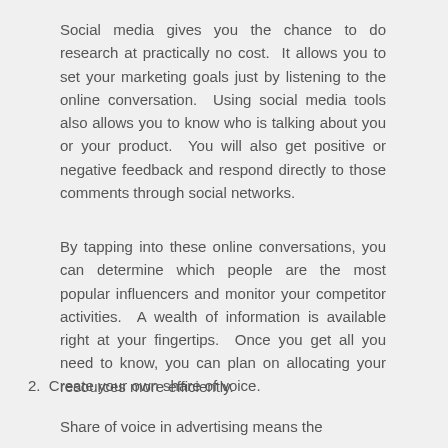Social media gives you the chance to do research at practically no cost.  It allows you to set your marketing goals just by listening to the online conversation.  Using social media tools also allows you to know who is talking about you or your product.  You will also get positive or negative feedback and respond directly to those comments through social networks.
By tapping into these online conversations, you can determine which people are the most popular influencers and monitor your competitor activities.  A wealth of information is available right at your fingertips.  Once you get all you need to know, you can plan on allocating your resources more efficiently.
2.  Create your own share of voice.
Share of voice in advertising means the